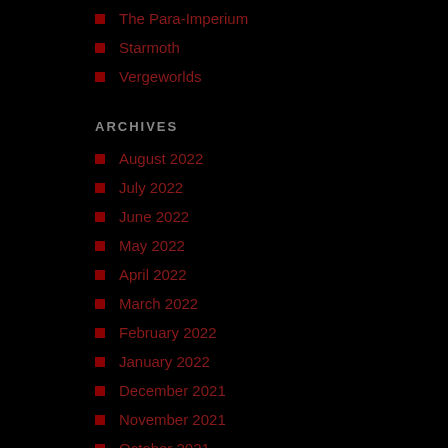The Para-Imperium
Starmoth
Vergeworlds
ARCHIVES
August 2022
July 2022
June 2022
May 2022
April 2022
March 2022
February 2022
January 2022
December 2021
November 2021
October 2021
September 2021
August 2021
July 2021
June 2021
May 2021
April 2021